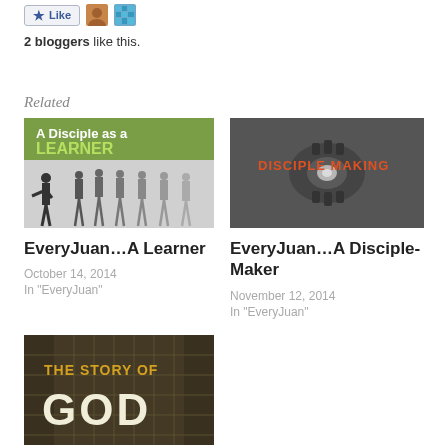[Figure (other): Like button with star icon, two avatar images next to it]
2 bloggers like this.
Related
[Figure (photo): Image with text 'A Disciple as a LEARNER' with silhouettes of people]
EveryJuan…A Learner
October 14, 2014
In "EveryJuan"
[Figure (photo): Dark image with text 'DISCIPLE MAKING' over mechanical gears]
EveryJuan…A Disciple-Maker
November 12, 2014
In "EveryJuan"
[Figure (photo): Dark building image with text 'THE STORY OF GOD']